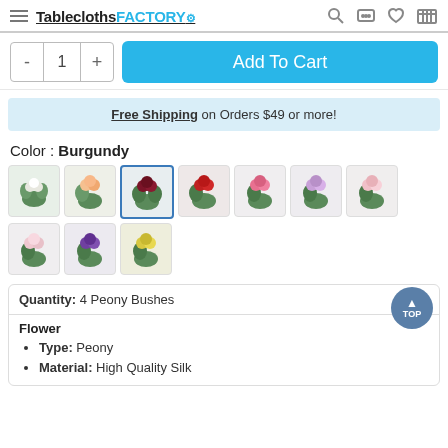TableclothsFACTORY
- 1 + Add To Cart
Free Shipping on Orders $49 or more!
Color : Burgundy
[Figure (photo): Grid of 10 flower bouquet thumbnail images in various colors (green/white, peach, burgundy/selected, red, pink, lavender, light pink for row 1; pink/white, purple, yellow for row 2)]
Quantity: 4 Peony Bushes
Flower
Type: Peony
Material: High Quality Silk